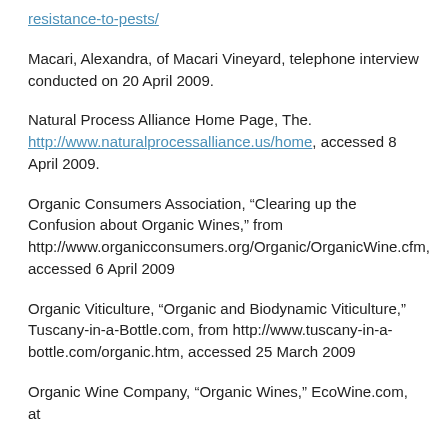resistance-to-pests/
Macari, Alexandra, of Macari Vineyard, telephone interview conducted on 20 April 2009.
Natural Process Alliance Home Page, The. http://www.naturalprocessalliance.us/home, accessed 8 April 2009.
Organic Consumers Association, “Clearing up the Confusion about Organic Wines,” from http://www.organicconsumers.org/Organic/OrganicWine.cfm, accessed 6 April 2009
Organic Viticulture, “Organic and Biodynamic Viticulture,” Tuscany-in-a-Bottle.com, from http://www.tuscany-in-a-bottle.com/organic.htm, accessed 25 March 2009
Organic Wine Company, “Organic Wines,” EcoWine.com, at